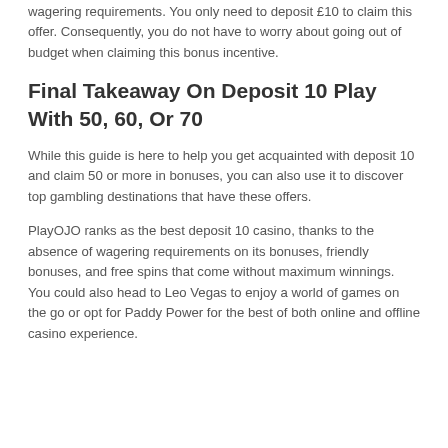wagering requirements. You only need to deposit £10 to claim this offer. Consequently, you do not have to worry about going out of budget when claiming this bonus incentive.
Final Takeaway On Deposit 10 Play With 50, 60, Or 70
While this guide is here to help you get acquainted with deposit 10 and claim 50 or more in bonuses, you can also use it to discover top gambling destinations that have these offers.
PlayOJO ranks as the best deposit 10 casino, thanks to the absence of wagering requirements on its bonuses, friendly bonuses, and free spins that come without maximum winnings. You could also head to Leo Vegas to enjoy a world of games on the go or opt for Paddy Power for the best of both online and offline casino experience.